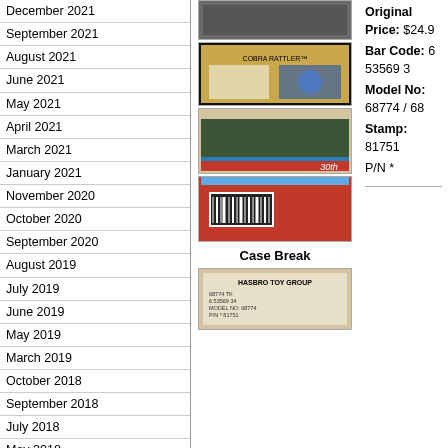December 2021
September 2021
August 2021
June 2021
May 2021
April 2021
March 2021
January 2021
November 2020
October 2020
September 2020
August 2019
July 2019
June 2019
May 2019
March 2019
October 2018
September 2018
July 2018
May 2018
April 2018
March 2018
January 2018
September 2017
August 2017
[Figure (photo): Product image 1 - top]
[Figure (photo): Product image 2 - Cobra Rattler box back]
[Figure (photo): Product image 3 - boxed vehicle]
[Figure (photo): Product image 4 - red box with barcode]
Case Break
[Figure (photo): Product image 5 - Hasbro Toy Group case label]
Original Price: $24.9
Bar Code: 6 53569 3
Model No: 68774 / 68
Stamp: 81751
P/N *